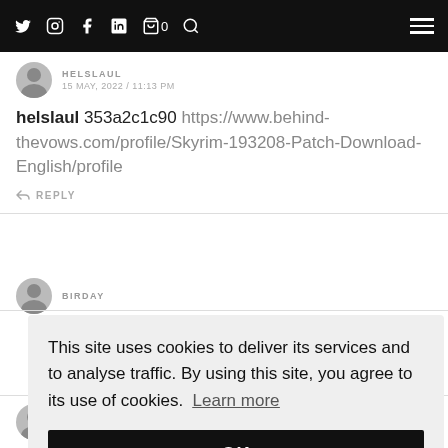Navigation bar with social icons (Twitter, Instagram, Facebook, LinkedIn, Cart 0, Search) and hamburger menu
HELSLAUL
15 MAY, 2022 / 11:13 PM
helslaul 353a2c1c90 https://www.behind-thevows.com/profile/Skyrim-193208-Patch-Download-English/profile
REPLY
BIRDAY
This site uses cookies to deliver its services and to analyse traffic. By using this site, you agree to its use of cookies. Learn more
OK
16 MAY, 2022 / 4:58 AM